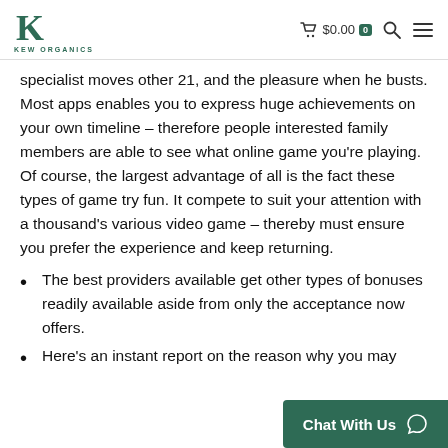KEW ORGANICS — $0.00 cart
specialist moves other 21, and the pleasure when he busts. Most apps enables you to express huge achievements on your own timeline – therefore people interested family members are able to see what online game you're playing. Of course, the largest advantage of all is the fact these types of game try fun. It compete to suit your attention with a thousand's various video game – thereby must ensure you prefer the experience and keep returning.
The best providers available get other types of bonuses readily available aside from only the acceptance now offers.
Here's an instant report on the reason why you may